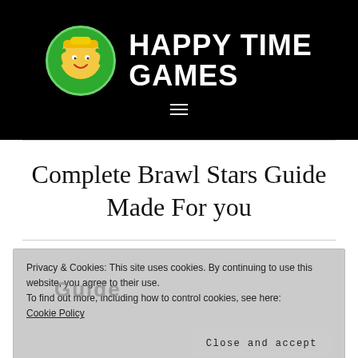HAPPY TIME GAMES
Complete Brawl Stars Guide Made For you
Privacy & Cookies: This site uses cookies. By continuing to use this website, you agree to their use.
To find out more, including how to control cookies, see here:
Cookie Policy
Close and accept